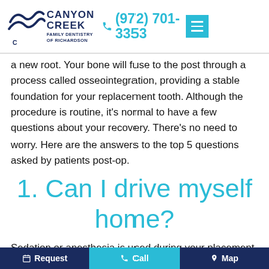Canyon Creek Family Dentistry of Richardson — (972) 701-3353
a new root. Your bone will fuse to the post through a process called osseointegration, providing a stable foundation for your replacement tooth. Although the procedure is routine, it's normal to have a few questions about your recovery. There's no need to worry. Here are the answers to the top 5 questions asked by patients post-op.
1. Can I drive myself home?
Sedation or anesthesia is used during your placement surgery
Request   Call   Map